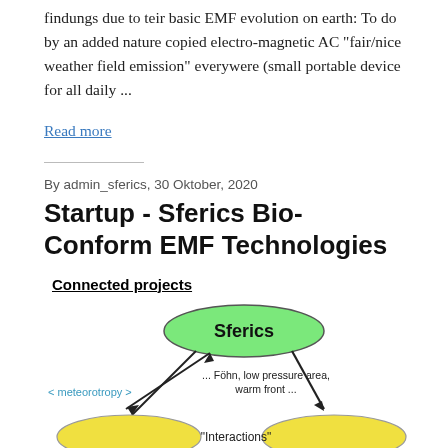findungs due to teir basic EMF evolution on earth: To do by an added nature copied electro-magnetic AC "fair/nice weather field emission" everywere (small portable device for all daily ...
Read more
By admin_sferics, 30 Oktober, 2020
Startup - Sferics Bio-Conform EMF Technologies
Connected projects
[Figure (illustration): Diagram showing connected projects with Sferics in a green ellipse at top, connected by arrows to two yellow ellipses at bottom. Left side shows '< meteorotropy >' label. Center shows '... Föhn, low pressure area, warm front ...' text with arrows. Bottom center shows '"Interactions"' label.]